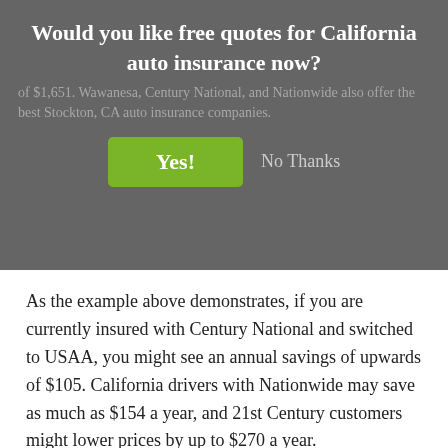Would you like free quotes for California auto insurance now?
of $1,651. Wawanesa, Century National, and Nationwide also offer the best Stockton, CA auto insurance companies.
[Figure (screenshot): Modal dialog with Yes! and No Thanks buttons over blurred background text]
As the example above demonstrates, if you are currently insured with Century National and switched to USAA, you might see an annual savings of upwards of $105. California drivers with Nationwide may save as much as $154 a year, and 21st Century customers might lower prices by up to $270 a year.
To find out how much you can save, click here to start your custom quote or click through to the companies below.